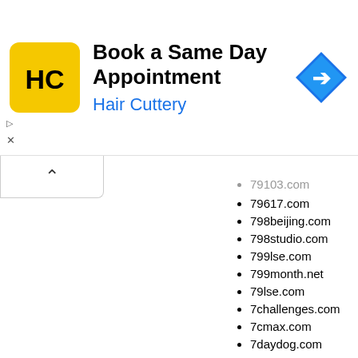[Figure (other): Hair Cuttery advertisement banner with logo, title 'Book a Same Day Appointment', subtitle 'Hair Cuttery', and a navigation arrow icon]
79103.com
79617.com
798beijing.com
798studio.com
799lse.com
799month.net
79lse.com
7challenges.com
7cmax.com
7daydog.com
7g8g.com
7htechnochem.com
7iai.com
7ilao.com
7iyy.com
7lams.com
7lioao.com
7m3p.com
7missporno.com
7nen4u.com
7oar.com
7omega.com
7ohter.com